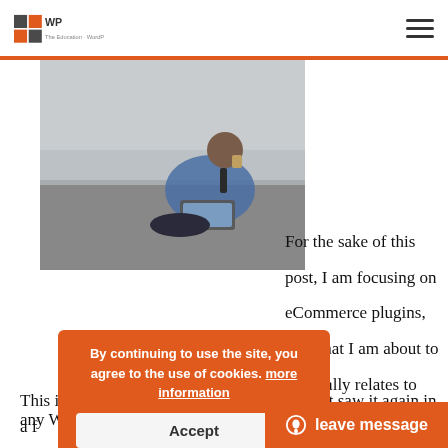WP [logo] — hamburger menu
[Figure (photo): Man in business attire sitting on a road, using a laptop and holding a drink, outdoor scene]
For the sake of this post, I am focusing on eCommerce plugins, but what I am about to say really relates to any WordPress plugin. (And probably even themes, but there is something specific there today.)
By continuing to use the site, you agree to the use of cookies. more information
Accept
This is something I came across de... fact, just saw it again in a f...
leave message